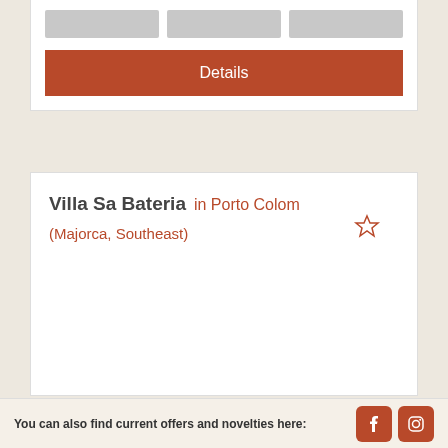[Figure (screenshot): Three gray image placeholder thumbnails in a row]
Details
Villa Sa Bateria in Porto Colom
(Majorca, Southeast)
You can also find current offers and novelties here: